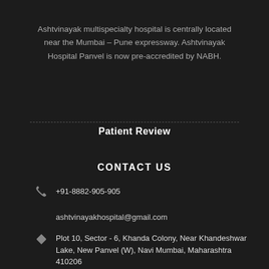Ashtvinayak multispecialty hospital is centrally located near the Mumbai – Pune expressway. Ashtvinayak Hospital Panvel is now pre-accredited by NABH.
Patient Review
CONTACT US
+91-8882-905-905
ashtvinayakhospital@gmail.com
Plot 10, Sector - 6, Khanda Colony, Near Khandeshwar Lake, New Panvel (W), Navi Mumbai, Maharashtra 410206